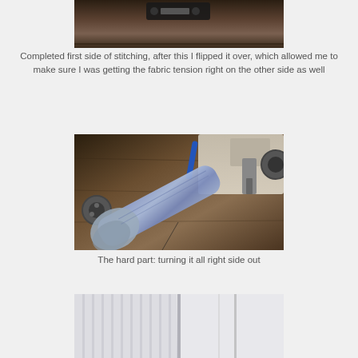[Figure (photo): Top portion of a sewing machine on a wooden surface, partial view from above]
Completed first side of stitching, after this I flipped it over, which allowed me to make sure I was getting the fabric tension right on the other side as well
[Figure (photo): A sewing machine on a wooden table with a blue fabric arm/tube being sewn, also a blue pen visible on the machine surface]
The hard part: turning it all right side out
[Figure (photo): Bottom photo partially visible showing curtains or fabric panels, cropped at page bottom]